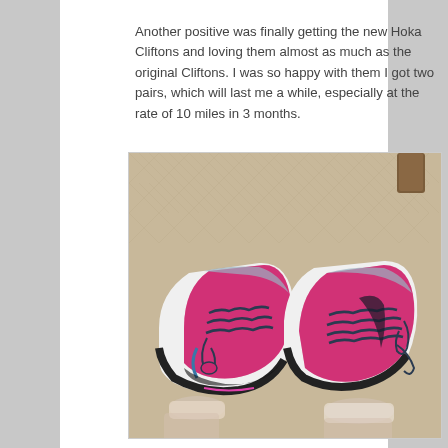Another positive was finally getting the new Hoka Cliftons and loving them almost as much as the original Cliftons. I was so happy with them I got two pairs, which will last me a while, especially at the rate of 10 miles in 3 months.
[Figure (photo): Overhead photo of a person wearing pink and black Hoka Clifton running shoes, viewed from above, showing the tops of both shoes with dark navy laces, pink and grey mesh upper, thick white midsole, on a herringbone wood floor background.]